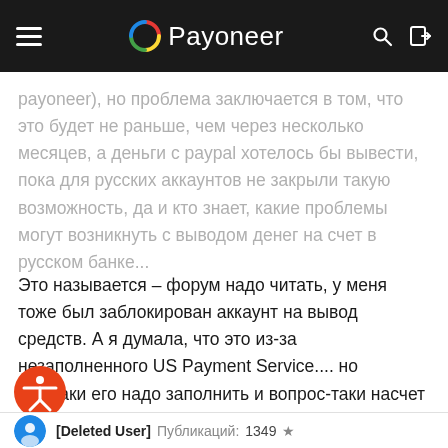Payoneer
payoneer), но проблема заключается в том, что это будет не раньше, чем через несколько месяцев, а деньги с paypal хотелось бы вывести, пока для русских аккаунтов не закрыли такую возможность, да и кто знает, какие проблемы могут возникнуть с выводом денег на счет в русском банке...
Это называется - форум надо читать, у меня тоже был заблокирован аккаунт на вывод средств. А я думала, что это из-за незаполненного US Payment Service.... но все-таки его надо заполнить и вопрос-таки насчет того, что мне лучше сделать в данной ситуации, остается.
[Figure (logo): Orange accessibility icon (person in circle) and blue user avatar circle]
[Deleted User]  Публикаций: 1349  ★